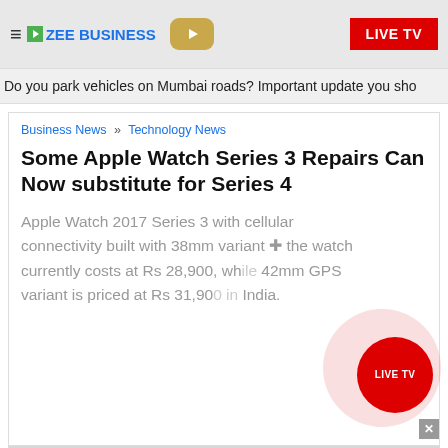ZEE BUSINESS | LIVE TV
Do you park vehicles on Mumbai roads? Important update you sho
Business News » Technology News
Some Apple Watch Series 3 Repairs Can Now substitute for Series 4
Apple Watch 2017 Series 3 with cellular connectivity built with 38mm variant the watch currently costs at Rs 28,900, while 42mm GPS variant is priced at Rs 31,900 in India.
Twitter  Facebook  Linkedin  whatapp
Apple has informed to substitute some of the Apple Watch